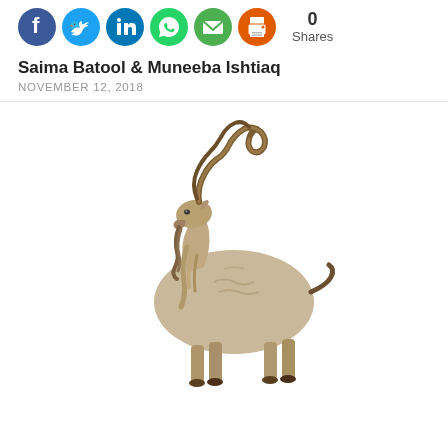[Figure (other): Social media share icons (Facebook, Twitter, LinkedIn, WhatsApp, Email, Print) followed by '0 Shares' count]
Saima Batool & Muneeba Ishtiaq
NOVEMBER 12, 2018
[Figure (photo): A markhor (large wild goat with distinctive corkscrew horns) standing on white background, facing left]